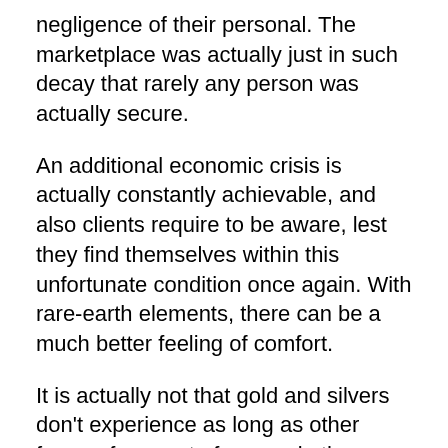negligence of their personal. The marketplace was actually just in such decay that rarely any person was actually secure.
An additional economic crisis is actually constantly achievable, and also clients require to be aware, lest they find themselves within this unfortunate condition once again. With rare-earth elements, there can be a much better feeling of comfort.
It is actually not that gold and silvers don't experience as long as other forms of amount of money in the course of economic crises. They really often view a rise in value.
Are You A Good Match?